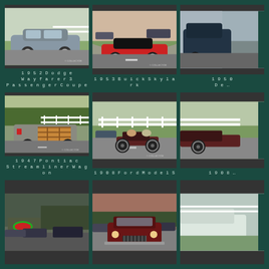[Figure (photo): 1952 Dodge Wayfarer 3 Passenger Coupe - gray/blue classic car parked on pavement]
1952 Dodge Wayfarer 3 Passenger Coupe
[Figure (photo): 1953 Buick Skylark - red classic convertible with white wall tires at a car show]
1953 Buick Skylark
[Figure (photo): 1950 De... - partial view of dark blue classic car]
1950 De...
[Figure (photo): 1947 Pontiac Streamliner Wagon - woody wagon with wood paneling driving on road]
1947 Pontiac Streamliner Wagon
[Figure (photo): 1908 Ford Model S - antique open car with two passengers driving on road]
1908 Ford Model S
[Figure (photo): 1908 - partial view of antique vehicle]
1908
[Figure (photo): Classic car show scene - cars parked at twilight]
[Figure (photo): Classic maroon/dark red car front view on road at car show]
[Figure (photo): Partial view of white classic car]